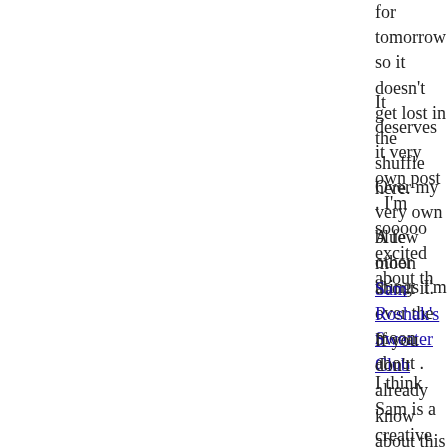for tomorrow so it doesn't get lost in the shuffle here.
It deserves it very own post . I'm sooooo excited about th
Over my very own blue moon about it.
A few other things I'm over the moon about .
Sam Roshak's Sweater Club
If you don't already know about this check it out. I think
I think Sam is a creative and thorough designer.  I love h yarn. I think we make a good team.
Another team I'm proud to be a part of is Twisted.  A gre people. I'm working with Shannon as a designer/dyer tea Shawlette Club .
And no I don't think socks are for suckers but I do think first installment of the year and we're having a blast with